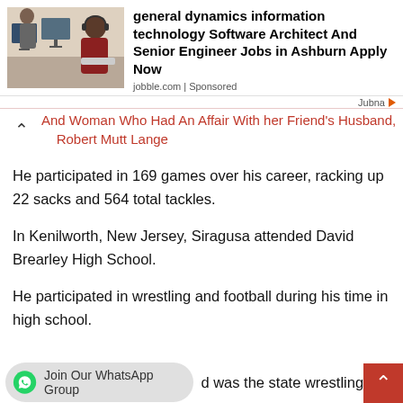[Figure (photo): Advertisement with photo of people working at computers with headsets in an office. Text reads: general dynamics information technology Software Architect And Senior Engineer Jobs in Ashburn Apply Now. jobble.com | Sponsored. Jubna logo with arrow.]
And Woman Who Had An Affair With her Friend's Husband, Robert Mutt Lange
He participated in 169 games over his career, racking up 22 sacks and 564 total tackles.
In Kenilworth, New Jersey, Siragusa attended David Brearley High School.
He participated in wrestling and football during his time in high school.
d was the state wrestling champio